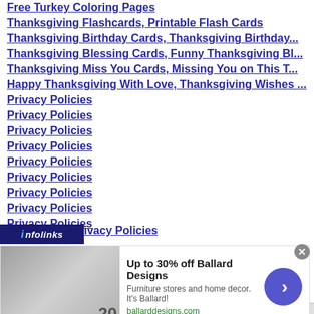Free Turkey Coloring Pages
Thanksgiving Flashcards, Printable Flash Cards
Thanksgiving Birthday Cards, Thanksgiving Birthday...
Thanksgiving Blessing Cards, Funny Thanksgiving Bl...
Thanksgiving Miss You Cards, Missing You on This T...
Happy Thanksgiving With Love, Thanksgiving Wishes ...
Privacy Policies
Privacy Policies
Privacy Policies
Privacy Policies
Privacy Policies
Privacy Policies
Privacy Policies
Privacy Policies
Privacy Policies
Privacy Policies
[Figure (screenshot): Infolinks bar overlay at bottom left, partially obscuring a link that reads 'ivacy Policies']
[Figure (screenshot): Advertisement banner for Ballard Designs: 'Up to 30% off Ballard Designs', 'Furniture stores and home decor. It's Ballard!', 'ballarddesigns.com', with image, close button, and arrow button]